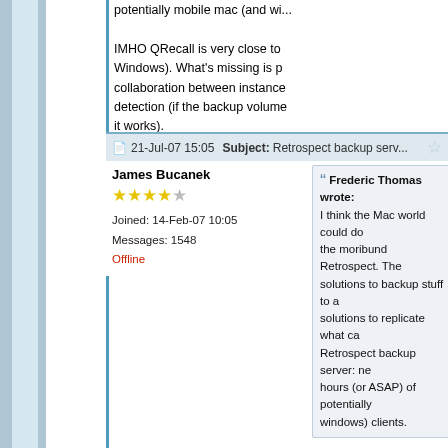potentially mobile mac (and wi...
IMHO QRecall is very close to ... Windows). What's missing is p... collaboration between instance... detection (if the backup volume... it works).
Fred
21-Jul-07 15:05  Subject: Retrospect backup serv...
James Bucanek
Joined: 14-Feb-07 10:05
Messages: 1548
Offline
Frederic Thomas wrote:
I think the Mac world could do... the moribund Retrospect. The... solutions to backup stuff to a... solutions to replicate what ca... Retrospect backup server: ne... hours (or ASAP) of potentially... windows) clients.
Have no fear; I have Retrospe...